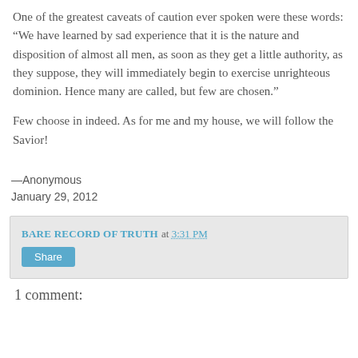One of the greatest caveats of caution ever spoken were these words: “We have learned by sad experience that it is the nature and disposition of almost all men, as soon as they get a little authority, as they suppose, they will immediately begin to exercise unrighteous dominion. Hence many are called, but few are chosen.”
Few choose in indeed. As for me and my house, we will follow the Savior!
—Anonymous
January 29, 2012
BARE RECORD OF TRUTH at 3:31 PM
Share
1 comment: